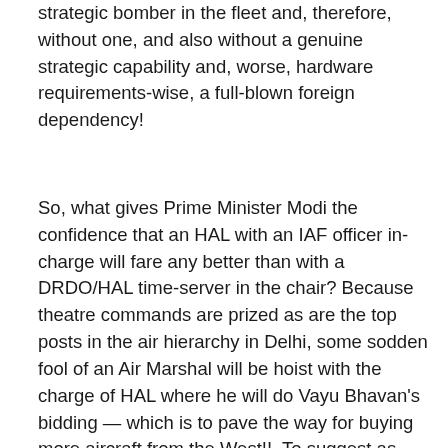strategic bomber in the fleet and, therefore, without one, and also without a genuine strategic capability and, worse, hardware requirements-wise, a full-blown foreign dependency!
So, what gives Prime Minister Modi the confidence that an HAL with an IAF officer in-charge will fare any better than with a DRDO/HAL time-server in the chair? Because theatre commands are prized as are the top posts in the air hierarchy in Delhi, some sodden fool of an Air Marshal will be hoist with the charge of HAL where he will do Vayu Bhavan's bidding — which is to pave the way for buying more aircraft from the West!!  To suggest as some have done that all aspects of combat aircraft production, including design and development, be brought under the IAF would be to risk the Tejas Mk-2 and the successor Advanced Medium Combat Aircraft programme being run